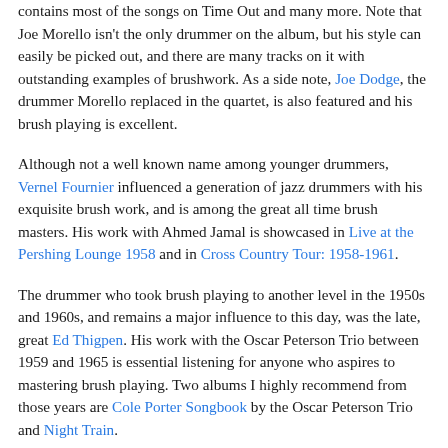contains most of the songs on Time Out and many more. Note that Joe Morello isn't the only drummer on the album, but his style can easily be picked out, and there are many tracks on it with outstanding examples of brushwork. As a side note, Joe Dodge, the drummer Morello replaced in the quartet, is also featured and his brush playing is excellent.
Although not a well known name among younger drummers, Vernel Fournier influenced a generation of jazz drummers with his exquisite brush work, and is among the great all time brush masters. His work with Ahmed Jamal is showcased in Live at the Pershing Lounge 1958 and in Cross Country Tour: 1958-1961.
The drummer who took brush playing to another level in the 1950s and 1960s, and remains a major influence to this day, was the late, great Ed Thigpen. His work with the Oscar Peterson Trio between 1959 and 1965 is essential listening for anyone who aspires to mastering brush playing. Two albums I highly recommend from those years are Cole Porter Songbook by the Oscar Peterson Trio and Night Train.
Not to diminish the importance or contributions to the art by